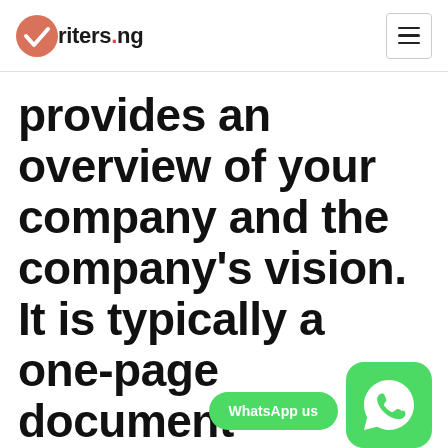writers.ng
provides an overview of your company and the company's vision. It is typically a one-page document designed to be presented to potential investors